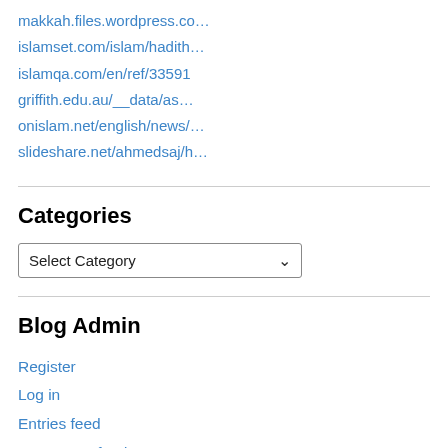makkah.files.wordpress.co…
islamset.com/islam/hadith…
islamqa.com/en/ref/33591
griffith.edu.au/__data/as…
onislam.net/english/news/…
slideshare.net/ahmedsaj/h…
Categories
Select Category
Blog Admin
Register
Log in
Entries feed
Comments feed
WordPress.com